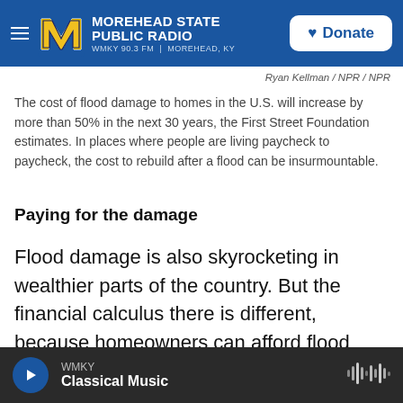Morehead State Public Radio — WMKY 90.3 FM | Morehead, KY — Donate
Ryan Kellman / NPR / NPR
The cost of flood damage to homes in the U.S. will increase by more than 50% in the next 30 years, the First Street Foundation estimates. In places where people are living paycheck to paycheck, the cost to rebuild after a flood can be insurmountable.
Paying for the damage
Flood damage is also skyrocketing in wealthier parts of the country. But the financial calculus there is different, because homeowners can afford flood insurance — at least up to a point. And municipal governments are able to invest in expensive flood mitigation projects.
WMKY — Classical Music